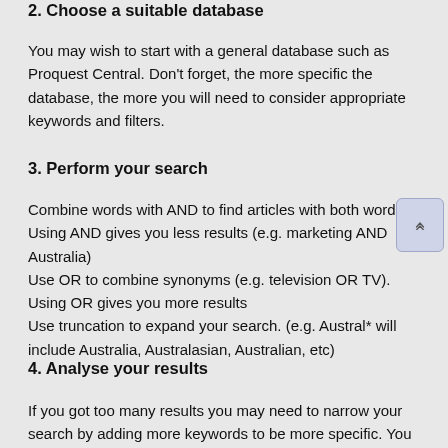2. Choose a suitable database
You may wish to start with a general database such as Proquest Central. Don’t forget, the more specific the database, the more you will need to consider appropriate keywords and filters.
3. Perform your search
Combine words with AND to find articles with both words. Using AND gives you less results (e.g. marketing AND Australia) Use OR to combine synonyms (e.g. television OR TV). Using OR gives you more results Use truncation to expand your search. (e.g. Austral* will include Australia, Australasian, Australian, etc)
4. Analyse your results
If you got too many results you may need to narrow your search by adding more keywords to be more specific. You may also limit to full-text articles, limit by date, limit to peer-reviewed etc